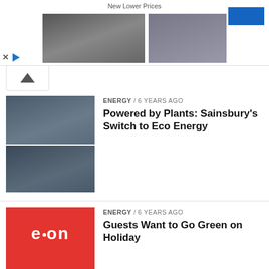[Figure (screenshot): Advertisement banner with wedding couple and men's suit photos, 'New Lower Prices' text, blue button, X and play controls]
[Figure (photo): Sainsbury's store exterior, two stacked photos]
ENERGY / 6 years ago
Powered by Plants: Sainsbury's Switch to Eco Energy
[Figure (logo): E.ON red logo repeated twice vertically]
ENERGY / 6 years ago
Guests Want to Go Green on Holiday
[Figure (logo): Big Green Smile logo on blue background with green badge]
FEATURES / 7 years ago
Introducing a Blue & Green friend: Big Green Smile